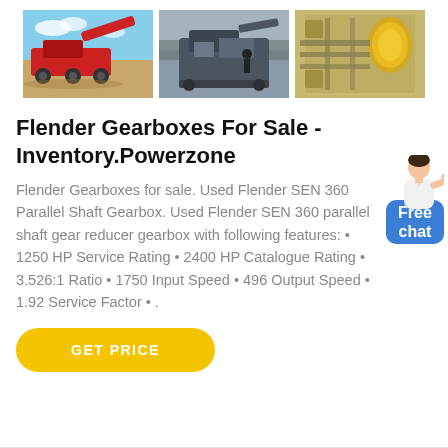[Figure (photo): Three photos of mining/crushing equipment and industrial machinery. Left: red mobile crusher on sandy terrain with blue sky. Center: gray crusher/screener in foggy/dark conditions. Right: overhead view of yellow industrial processing equipment.]
Flender Gearboxes For Sale - Inventory.Powerzone
Flender Gearboxes for sale. Used Flender SEN 360 Parallel Shaft Gearbox. Used Flender SEN 360 parallel shaft gear reducer gearbox with following features: • 1250 HP Service Rating • 2400 HP Catalogue Rating • 3.526:1 Ratio • 1750 Input Speed • 496 Output Speed • 1.92 Service Factor • .
[Figure (illustration): Button labeled GET PRICE with yellow rounded rectangle background and white uppercase text.]